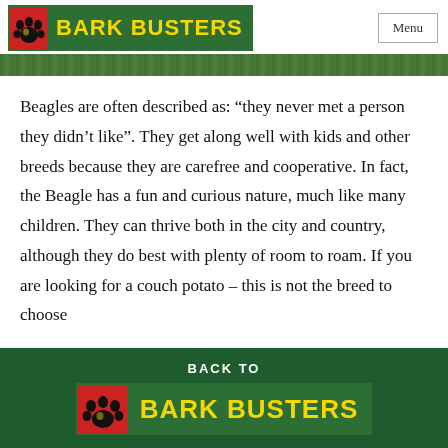BARK BUSTERS | Menu
[Figure (photo): Green nature/grass banner strip beneath header]
Beagles are often described as: “they never met a person they didn’t like”. They get along well with kids and other breeds because they are carefree and cooperative. In fact, the Beagle has a fun and curious nature, much like many children. They can thrive both in the city and country, although they do best with plenty of room to roam. If you are looking for a couch potato – this is not the breed to choose
BACK TO BARK BUSTERS